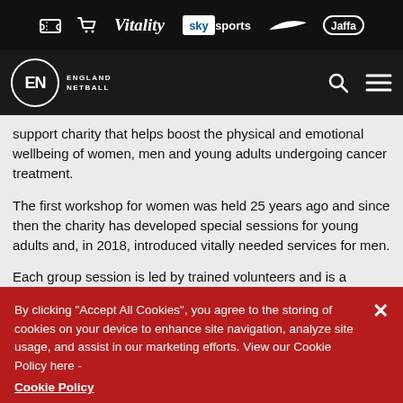England Netball website header with sponsor logos: Vitality, sky sports, Nike, Jaffa
support charity that helps boost the physical and emotional wellbeing of women, men and young adults undergoing cancer treatment.
The first workshop for women was held 25 years ago and since then the charity has developed special sessions for young adults and, in 2018, introduced vitally needed services for men.
Each group session is led by trained volunteers and is a
By clicking "Accept All Cookies", you agree to the storing of cookies on your device to enhance site navigation, analyze site usage, and assist in our marketing efforts. View our Cookie Policy here - Cookie Policy